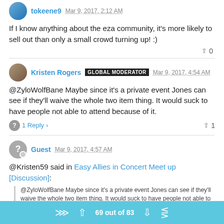tokeene9 Mar 9, 2017, 2:12 AM
If I know anything about the eza community, it's more likely to sell out than only a small crowd turning up! :)
▲ 0
Kristen Rogers GLOBAL MODERATOR Mar 9, 2017, 4:54 AM
@ZyloWolfBane Maybe since it's a private event Jones can see if they'll waive the whole two item thing. It would suck to have people not able to attend because of it.
1 Reply > ▲ 1
Guest Mar 9, 2017, 4:57 AM
@Kristen59 said in Easy Allies in Concert Meet up [Discussion]:
@ZyloWolfBane Maybe since it's a private event Jones can see if they'll waive the whole two item thing. It would suck to have people not able to attend because of it.
69 out of 83